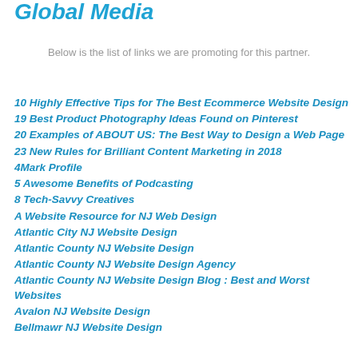Global Media
Below is the list of links we are promoting for this partner.
10 Highly Effective Tips for The Best Ecommerce Website Design
19 Best Product Photography Ideas Found on Pinterest
20 Examples of ABOUT US: The Best Way to Design a Web Page
23 New Rules for Brilliant Content Marketing in 2018
4Mark Profile
5 Awesome Benefits of Podcasting
8 Tech-Savvy Creatives
A Website Resource for NJ Web Design
Atlantic City NJ Website Design
Atlantic County NJ Website Design
Atlantic County NJ Website Design Agency
Atlantic County NJ Website Design Blog : Best and Worst Websites
Avalon NJ Website Design
Bellmawr NJ Website Design